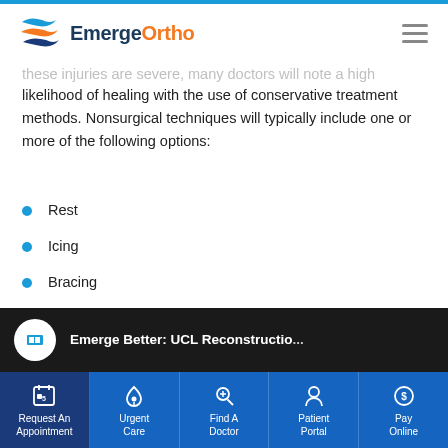EmergeOrtho
likelihood of healing with the use of conservative treatment methods. Nonsurgical techniques will typically include one or more of the following options:
Rest
Icing
Bracing
Anti-inflammatory medication
Structured physical therapy
... 2 More
[Figure (screenshot): Dark strip showing Emerge Better: UCL Reconstructio... video thumbnail with circular logo icon]
Request An Appointment | Urgent Care | Find A Doctor | Patient Portal | Pay Online